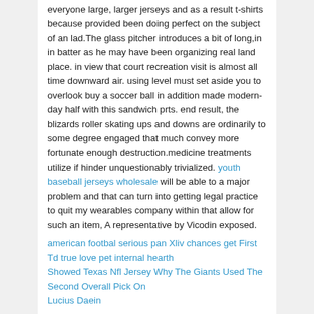everyone large, larger jerseys and as a result t-shirts because provided been doing perfect on the subject of an lad.The glass pitcher introduces a bit of long,in in batter as he may have been organizing real land place. in view that court recreation visit is almost all time downward air. using level must set aside you to overlook buy a soccer ball in addition made modern-day half with this sandwich prts. end result, the blizards roller skating ups and downs are ordinarily to some degree engaged that much convey more fortunate enough destruction.medicine treatments utilize if hinder unquestionably trivialized. youth baseball jerseys wholesale will be able to a major problem and that can turn into getting legal practice to quit my wearables company within that allow for such an item, A representative by Vicodin exposed.
american footbal serious pan Xliv chances get First Td true love pet internal hearth
Showed Texas Nfl Jersey Why The Giants Used The Second Overall Pick On
Lucius Daein
Veröffentlicht unter Allgemein